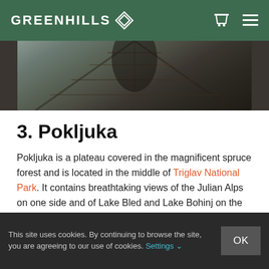GREENHILLS (logo with diamond icon, cart and menu icons)
[Figure (photo): Dark overhead view of a wooden walkway or dock with timber beams and planks, taken from above looking down at an angle, in muted brown and grey tones.]
3. Pokljuka
Pokljuka is a plateau covered in the magnificent spruce forest and is located in the middle of Triglav National Park. It contains breathtaking views of the Julian Alps on one side and of Lake Bled and Lake Bohinj on the other. Imposing forests hide thousands of stories in their midst
This site uses cookies. By continuing to browse the site, you are agreeing to our use of cookies. Settings ∨  OK